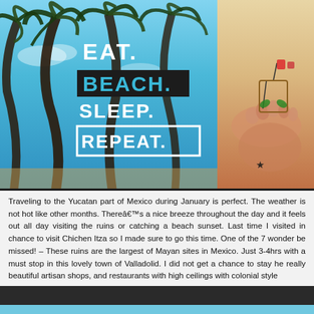[Figure (photo): Split image: left side shows palm trees against blue sky with overlaid text 'EAT. BEACH. SLEEP. REPEAT.' in bold block letters; right side shows close-up of feet/toes with a small decorative flower ornament hanging from toes, warm orange/sandy tones.]
Traveling to the Yucatan part of Mexico during January is perfect. The weather is not hot like other months. Thereâ€™s a nice breeze throughout the day and it feels out all day visiting the ruins or catching a beach sunset. Last time I visited in chance to visit Chichen Itza so I made sure to go this time. One of the 7 wonder be missed! – These ruins are the largest of Mayan sites in Mexico. Just 3-4hrs with a must stop in this lovely town of Valladolid. I did not get a chance to stay he really beautiful artisan shops, and restaurants with high ceilings with colonial style